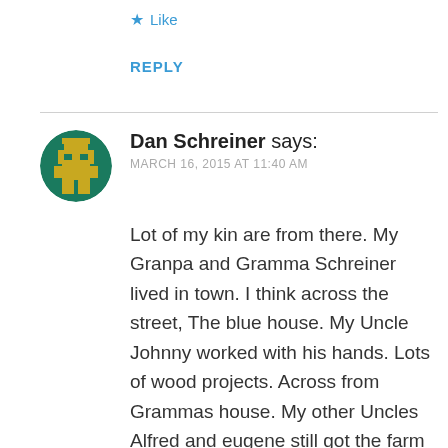★ Like
REPLY
Dan Schreiner says:
MARCH 16, 2015 AT 11:40 AM
Lot of my kin are from there. My Granpa and Gramma Schreiner lived in town. I think across the street, The blue house. My Uncle Johnny worked with his hands. Lots of wood projects. Across from Grammas house. My other Uncles Alfred and eugene still got the farm outside cogswell. Lost